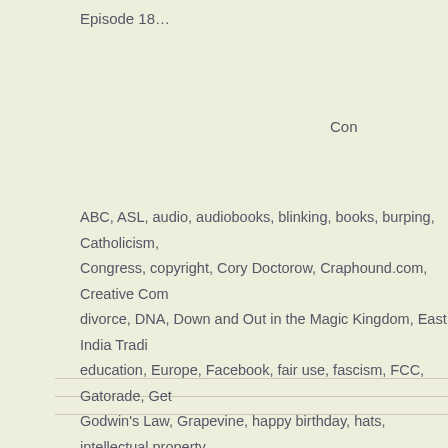Episode 18…
Con
ABC, ASL, audio, audiobooks, blinking, books, burping, Catholicism, Congress, copyright, Cory Doctorow, Craphound.com, Creative Com divorce, DNA, Down and Out in the Magic Kingdom, East India Tradi education, Europe, Facebook, fair use, fascism, FCC, Gatorade, Ge Godwin's Law, Grapevine, happy birthday, hats, intellectual property, Julie, Kevin, Korea, Little Brother, lobbying, Matt, metaphysics, Micke Monoprice.com, Native Americans, ownership, Palm OS, patent, per Philip Glass, philosophy of mind, piano, Pixar, Pokemon, Powerade, privatization, public domain, RadioShack, Romeo and Juliet, science Shakespeare, Ship of Theseus, sneezing, Someone Comes to Town Town, Steamboat Willy, Stephen, The Simpsons, theater, Tracy Olma trademarks, Wall-E, Walt Disney, Western culture, wills